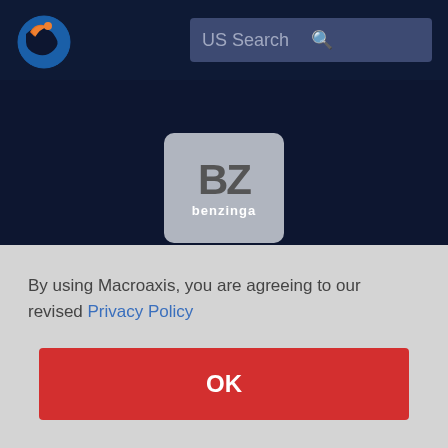[Figure (logo): Macroaxis globe logo — blue circle with orange crescent and dark continents]
US Search
[Figure (logo): Benzinga BZ logo — grey rounded square with large dark BZ letters and white 'benzinga' text below]
Autozone ( AZO ) - AutoZone to Release...
By using Macroaxis, you are agreeing to our revised Privacy Policy
OK